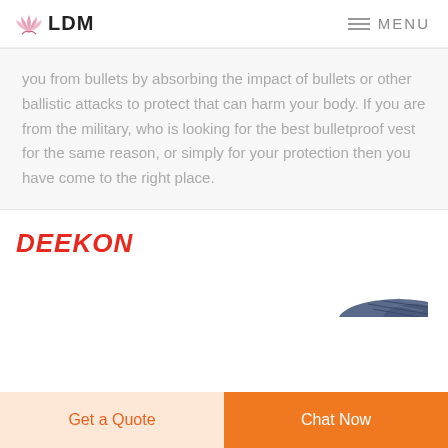LDM   MENU
you from bullets by absorbing the impact of bullets or other ballistic attacks to protect that can harm your body. If you are from the military, who is looking for the best bulletproof vest for the same reason, or simply for your protection then you have come to the right place.
DEEKON
[Figure (photo): Partial view of a dark blue bulletproof vest or protective gear item, shown at bottom right of the section.]
Get a Quote
Chat Now